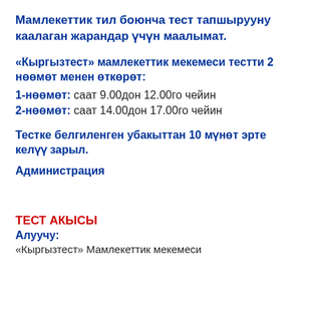Мамлекеттик тил боюнча тест тапшырууну каалаган жарандар үчүн маалымат.
«Кыргызтест» мамлекеттик мекемеси тестти 2 нөөмөт менен өткөрөт:
1-нөөмөт: саат 9.00дон 12.00го чейин
2-нөөмөт: саат 14.00дон 17.00го чейин
Тестке белгиленген убакыттан 10 мүнөт эрте келүү зарыл.
Администрация
ТЕСТ АКЫСЫ
Алуучу:
«Кыргызтест» Мамлекеттик мекемеси